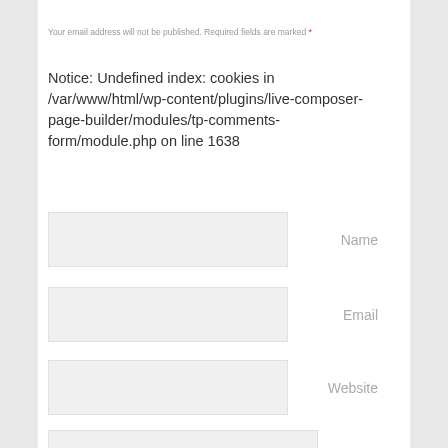Your email address will not be published. Required fields are marked *
Notice: Undefined index: cookies in /var/www/html/wp-content/plugins/live-composer-page-builder/modules/tp-comments-form/module.php on line 1638
Name
Email
Website